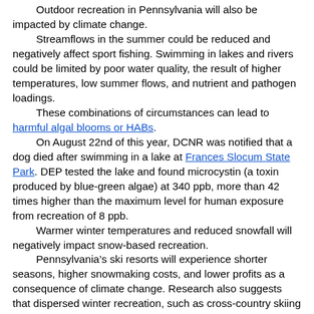Outdoor recreation in Pennsylvania will also be impacted by climate change.
Streamflows in the summer could be reduced and negatively affect sport fishing. Swimming in lakes and rivers could be limited by poor water quality, the result of higher temperatures, low summer flows, and nutrient and pathogen loadings.
These combinations of circumstances can lead to harmful algal blooms or HABs.
On August 22nd of this year, DCNR was notified that a dog died after swimming in a lake at Frances Slocum State Park. DEP tested the lake and found microcystin (a toxin produced by blue-green algae) at 340 ppb, more than 42 times higher than the maximum level for human exposure from recreation of 8 ppb.
Warmer winter temperatures and reduced snowfall will negatively impact snow-based recreation.
Pennsylvania’s ski resorts will experience shorter seasons, higher snowmaking costs, and lower profits as a consequence of climate change. Research also suggests that dispersed winter recreation, such as cross-country skiing and snowmobiling, will decline because of less snowfall and fewer extended periods of cold weather.
The discussion of climate change is no longer about